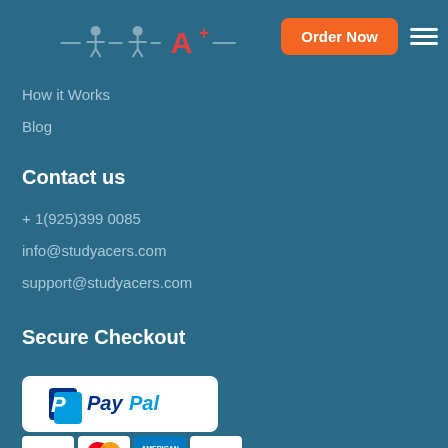StudyAcers logo + Order Now button + hamburger menu
How it Works
Blog
Contact us
+ 1(925)399 0085
info@studyacers.com
support@studyacers.com
Secure Checkout
[Figure (logo): PayPal logo on white rounded rectangle, followed by Visa, Mastercard, American Express, Discover card logos]